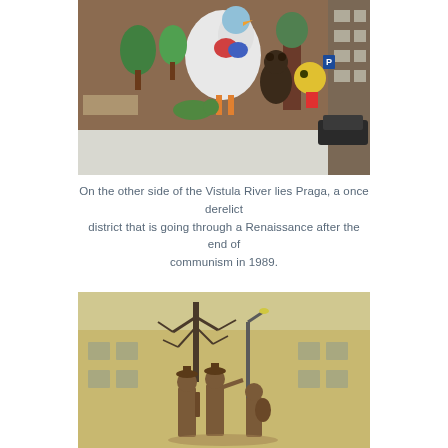[Figure (photo): Street mural on a brick building wall showing colorful cartoon characters including a large bird, bear, trees, and other figures. Snow on the ground, a car parked nearby, a parking sign visible on the right.]
On the other side of the Vistula River lies Praga, a once derelict district that is going through a Renaissance after the end of communism in 1989.
[Figure (photo): Bronze statues of musicians playing instruments in front of a yellow building with bare winter trees in the background.]